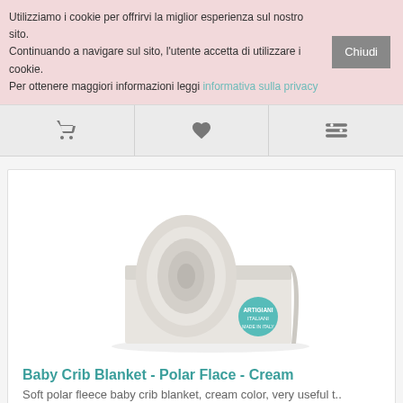Utilizziamo i cookie per offrirvi la miglior esperienza sul nostro sito. Continuando a navigare sul sito, l'utente accetta di utilizzare i cookie. Per ottenere maggiori informazioni leggi informativa sulla privacy
[Figure (screenshot): Navigation icon bar with cart, heart/wishlist, and compare icons on a light grey background]
[Figure (photo): A rolled cream-colored polar fleece baby crib blanket with a teal circular badge/logo on it]
Baby Crib Blanket - Polar Flace - Cream
Soft polar fleece baby crib blanket, cream color, very useful t..
12.99€